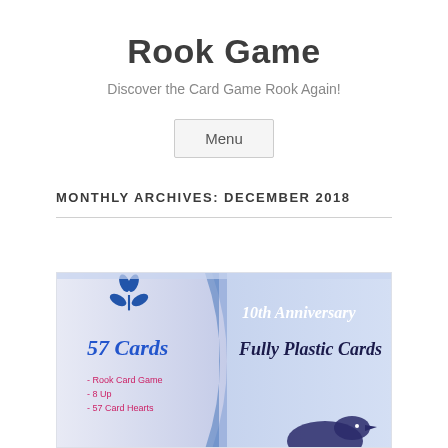Rook Game
Discover the Card Game Rook Again!
Menu
MONTHLY ARCHIVES: DECEMBER 2018
[Figure (photo): Photo of a Rook card game box — 10th Anniversary edition, 57 Cards, Fully Plastic Cards, Rook Card Game, 8 Up, 57 Card Hearts]